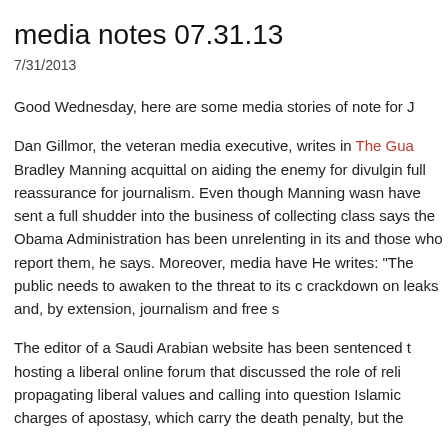media notes 07.31.13
7/31/2013
Good Wednesday, here are some media stories of note for J
Dan Gillmor, the veteran media executive, writes in The Gua Bradley Manning acquittal on aiding the enemy for divulgin full reassurance for journalism. Even though Manning wasn have sent a full shudder into the business of collecting class says the Obama Administration has been unrelenting in its and those who report them, he says. Moreover, media have He writes: "The public needs to awaken to the threat to its c crackdown on leaks and, by extension, journalism and free s
The editor of a Saudi Arabian website has been sentenced t hosting a liberal online forum that discussed the role of reli propagating liberal values and calling into question Islamic charges of apostasy, which carry the death penalty, but the